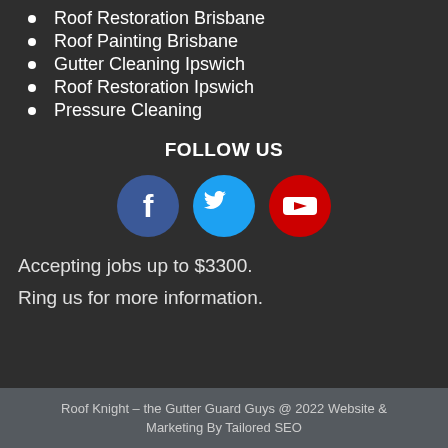Roof Restoration Brisbane
Roof Painting Brisbane
Gutter Cleaning Ipswich
Roof Restoration Ipswich
Pressure Cleaning
FOLLOW US
[Figure (infographic): Three social media icons: Facebook (blue circle), Twitter (light blue circle), YouTube (red circle)]
Accepting jobs up to $3300.
Ring us for more information.
Roof Knight – the Gutter Guard Guys @ 2022 Website & Marketing By Tailored SEO